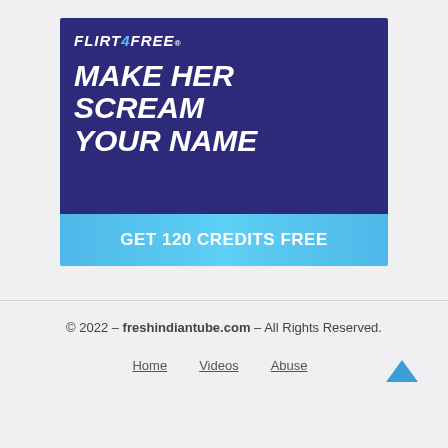[Figure (illustration): Flirt4Free advertisement banner with dark blue/purple background. Logo reads FLIRT 4 FREE in bold italic white text with the '4' in blue. Large white bold italic text reads MAKE HER SCREAM YOUR NAME. A light blue gradient bottom bar reads GET 120 CREDITS FREE. A woman with dark hair is shown on the right side of the banner.]
© 2022 – freshindiantube.com – All Rights Reserved.
Home
Videos
Abuse